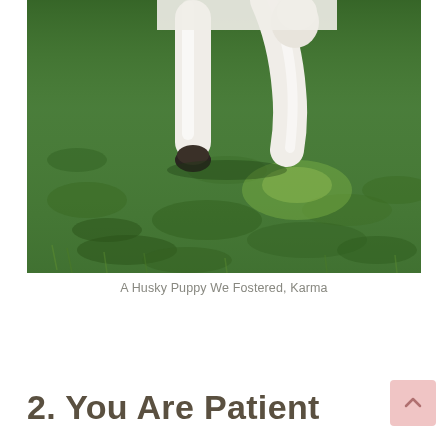[Figure (photo): Close-up photo of a white husky puppy running on green grass, showing the dog's legs and paws mid-stride.]
A Husky Puppy We Fostered, Karma
2. You Are Patient